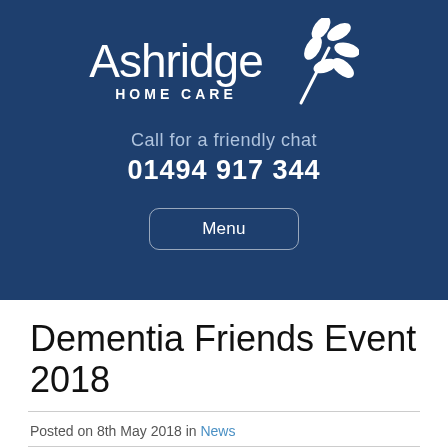[Figure (logo): Ashridge Home Care logo with white leaf/branch illustration on dark blue background, with text 'Call for a friendly chat' and phone number '01494 917 344', and a Menu button below]
Dementia Friends Event 2018
Posted on 8th May 2018 in News